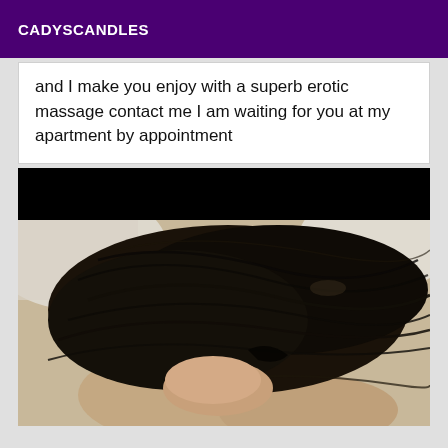CADYSCANDLES
and I make you enjoy with a superb erotic massage contact me I am waiting for you at my apartment by appointment
[Figure (photo): Close-up photograph showing dark black hair against a light background, partially obscured by a large black redaction bar at the top]